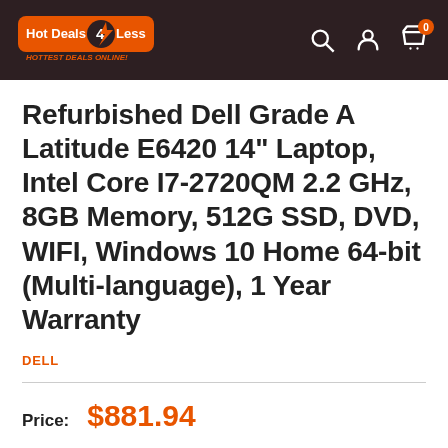Hot Deals 4 Less - HOTTEST DEALS ONLINE!
Refurbished Dell Grade A Latitude E6420 14" Laptop, Intel Core I7-2720QM 2.2 GHz, 8GB Memory, 512G SSD, DVD, WIFI, Windows 10 Home 64-bit (Multi-language), 1 Year Warranty
DELL
Price: $881.94